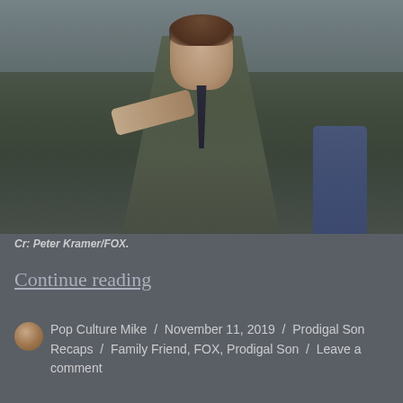[Figure (photo): A man in a dark olive/green coat and dark tie pointing toward the camera, outdoors at what appears to be a scene with cars and another person in a blue vest in the background.]
Cr: Peter Kramer/FOX.
Continue reading
Pop Culture Mike / November 11, 2019 / Prodigal Son Recaps / Family Friend, FOX, Prodigal Son / Leave a comment